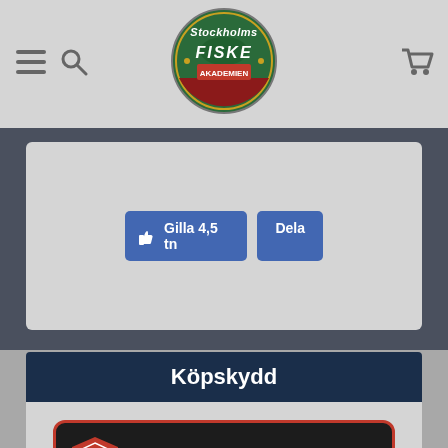[Figure (logo): Stockholms Fiske website logo - circular emblem with fish and text]
[Figure (screenshot): Facebook like and share buttons showing 'Gilla 4,5 tn' and 'Dela']
Köpskydd
[Figure (logo): PriceRunner Köpgaranti badge with shield icon - Upp till 50 000 kr]
[Figure (logo): Klarna payment logo - pink background with black text]
[Figure (logo): PayPal payment logo]